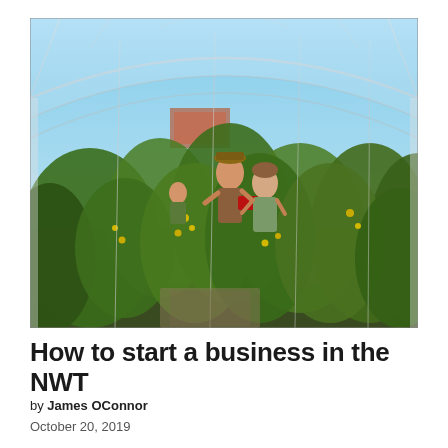[Figure (photo): Two people harvesting vegetables inside a large polytunnel greenhouse filled with lush green tomato and other vegetable plants. A third person is visible in the background. The greenhouse has a curved translucent roof letting in bright natural light.]
How to start a business in the NWT
by James OConnor
October 20, 2019